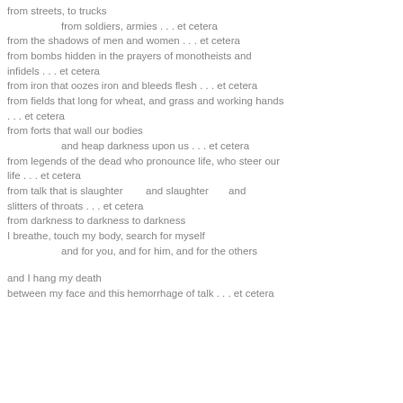from streets, to trucks
            from soldiers, armies . . . et cetera
from the shadows of men and women . . . et cetera
from bombs hidden in the prayers of monotheists and infidels . . . et cetera
from iron that oozes iron and bleeds flesh . . . et cetera
from fields that long for wheat, and grass and working hands . . . et cetera
from forts that wall our bodies
            and heap darkness upon us . . . et cetera
from legends of the dead who pronounce life, who steer our life . . . et cetera
from talk that is slaughter        and slaughter        and slitters of throats . . . et cetera
from darkness to darkness to darkness
I breathe, touch my body, search for myself
            and for you, and for him, and for the others

and I hang my death
between my face and this hemorrhage of talk . . . et cetera